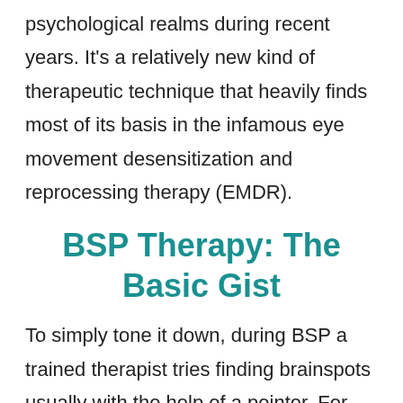psychological realms during recent years. It's a relatively new kind of therapeutic technique that heavily finds most of its basis in the infamous eye movement desensitization and reprocessing therapy (EMDR).
BSP Therapy: The Basic Gist
To simply tone it down, during BSP a trained therapist tries finding brainspots usually with the help of a pointer. For those who are unfamiliar, a brainspot in this case would be an eye position or possible fixture that